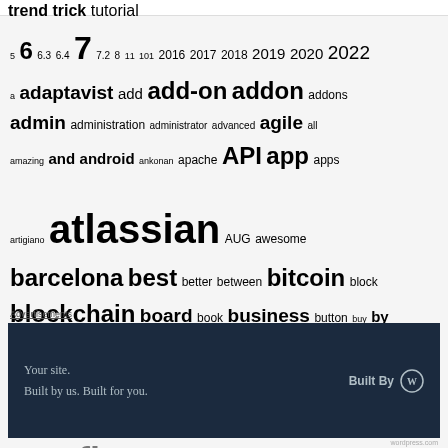trend trick tutorial
5 6 6.3 6.4 7 7.2 8 11 101 2016 2017 2018 2019 2020 2022 a adaptavist add add-on addon addons admin administration administrator advanced agile all amazing and android ankonan apache API app apps artigiano atlassian AUG awesome barcelona best better between bitcoin block blockchain board book business button buy by calculate calculated call card cards chain change chrome class classic clone cloud code coin color colors columns combined comment como company confluence
Advertisements
[Figure (other): Advertisement banner: 'Your site. Built by us. Built for you.' with Built By WordPress logo on dark navy background]